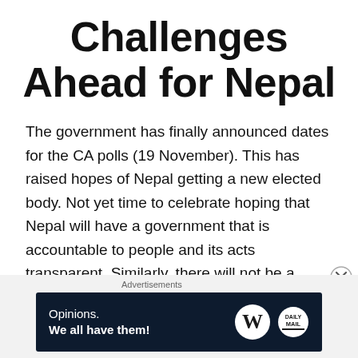Challenges Ahead for Nepal
The government has finally announced dates for the CA polls (19 November). This has raised hopes of Nepal getting a new elected body. Not yet time to celebrate hoping that Nepal will have a government that is accountable to people and its acts transparent. Similarly, there will not be a competition among political parties based on issues
Continue reading →
Advertisements
[Figure (other): WordPress advertisement banner with text 'Opinions. We all have them!' and WordPress 'W' logo and another circular logo on a dark navy background]